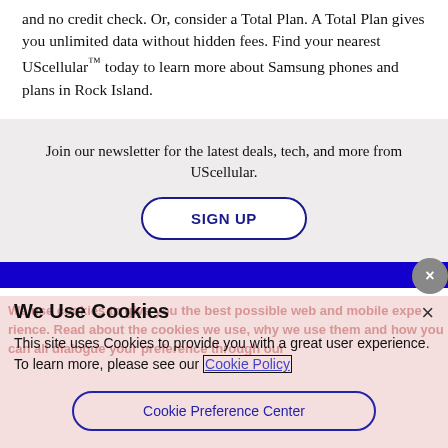and no credit check. Or, consider a Total Plan. A Total Plan gives you unlimited data without hidden fees. Find your nearest UScellular™ today to learn more about Samsung phones and plans in Rock Island.
Join our newsletter for the latest deals, tech, and more from UScellular.
SIGN UP
We Use Cookies
This site uses Cookies to provide you with a great user experience. To learn more, please see our Cookie Policy
Cookie Preference Center